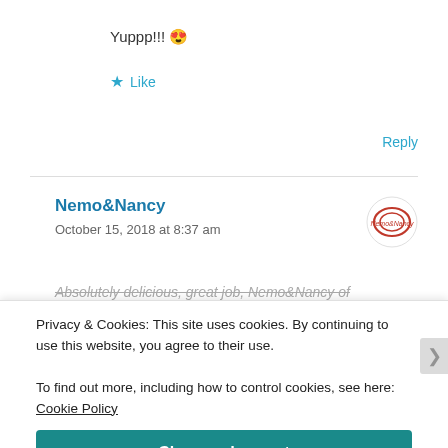Yuppp!!! 😍
★ Like
Reply
Nemo&Nancy
October 15, 2018 at 8:37 am
Absolutely delicious, great job, Nemo&Nancy of
Privacy & Cookies: This site uses cookies. By continuing to use this website, you agree to their use.
To find out more, including how to control cookies, see here: Cookie Policy
Close and accept